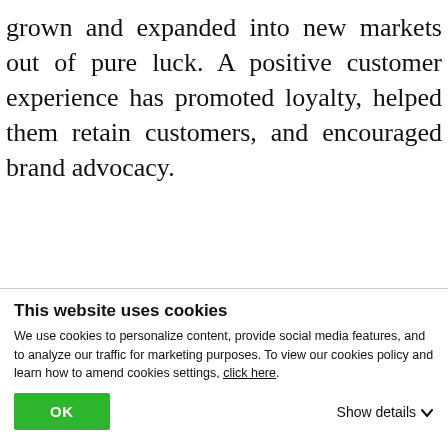grown and expanded into new markets out of pure luck. A positive customer experience has promoted loyalty, helped them retain customers, and encouraged brand advocacy.
[Figure (screenshot): Browser toolbar with hamburger menu icon on left, search icon and share icon on right]
Today, customers have the power; therefore, Knight's Companies makes it their priority to set themselves apart from the competition by delivering a
This website uses cookies
We use cookies to personalize content, provide social media features, and to analyze our traffic for marketing purposes. To view our cookies policy and learn how to amend cookies settings, click here.